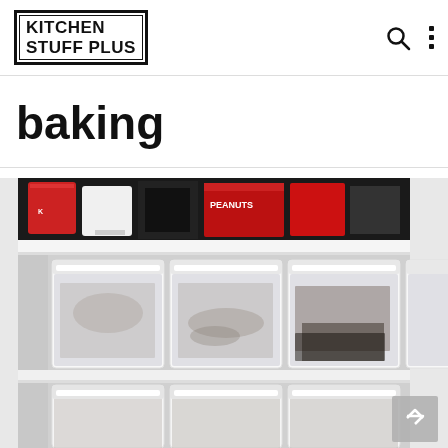Kitchen Stuff Plus
baking
[Figure (photo): Shelves in a pantry with clear food storage containers filled with various dry ingredients, and mugs on the top shelf including one with PEANUTS text.]